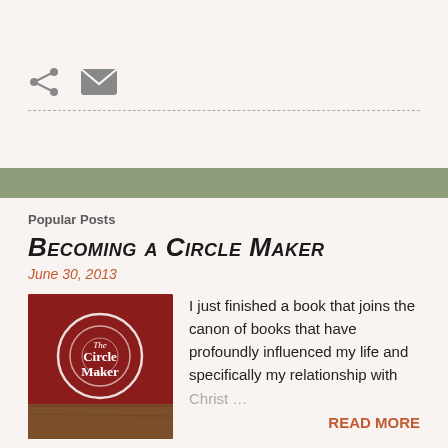[Figure (other): Share icon (less-than symbol style) and mail envelope icon in gray]
Popular Posts
Becoming a Circle Maker
June 30, 2013
[Figure (photo): Book cover of The Circle Maker with red background and white circle design]
I just finished a book that joins the canon of books that have profoundly influenced my life and specifically my relationship with Christ …
READ MORE